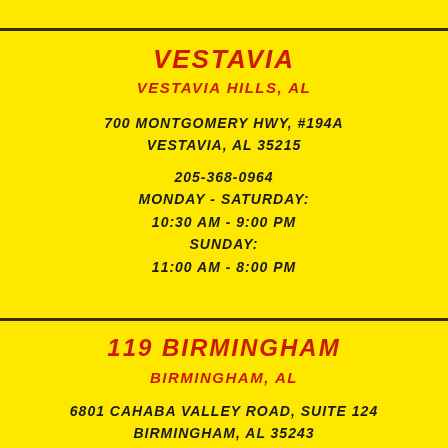VESTAVIA
VESTAVIA HILLS, AL
700 MONTGOMERY HWY, #194A
VESTAVIA, AL 35215
205-368-0964
MONDAY - SATURDAY:
10:30 AM - 9:00 PM
SUNDAY:
11:00 AM - 8:00 PM
119 BIRMINGHAM
BIRMINGHAM, AL
6801 CAHABA VALLEY ROAD, SUITE 124
BIRMINGHAM, AL 35243